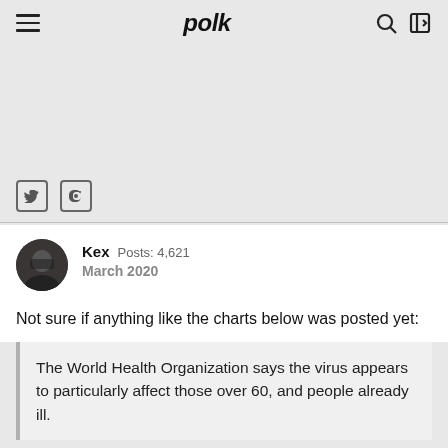polk
[Figure (illustration): Gray placeholder area]
Kex  Posts: 4,621
March 2020
Not sure if anything like the charts below was posted yet:
The World Health Organization says the virus appears to particularly affect those over 60, and people already ill.